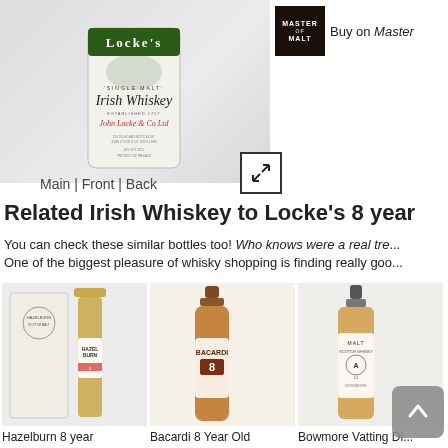[Figure (photo): Locke's Single Malt Irish Whiskey bottle, close-up showing label]
[Figure (logo): Master of Malt logo badge in dark brown/black square with text 'Buy on Master']
Main | Front | Back
Related Irish Whiskey to Locke's 8 year
You can check these similar bottles too! Who knows were a real tre... One of the biggest pleasure of whisky shopping is finding really goo...
[Figure (photo): Hazelburn 8 year whisky bottle with box]
[Figure (photo): Bacardi 8 Year Old rum bottle]
[Figure (photo): Bowmore Vatting whisky bottle]
Hazelburn 8 year
Bacardi 8 Year Old
Bowmore Vatting  Di...